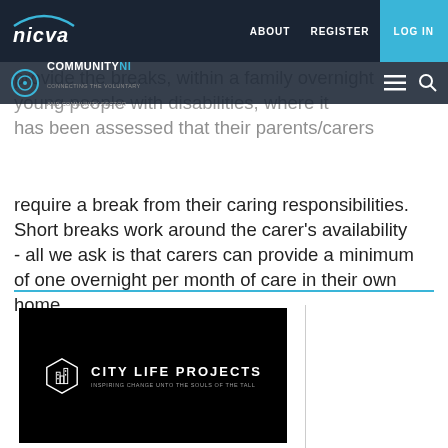NICVA | ABOUT | REGISTER | LOG IN | COMMUNITY NI
provide the breaks, within a family overnight young people with disabilities, where it has been assessed that their parents/carers require a break from their caring responsibilities. Short breaks work around the carer's availability - all we ask is that carers can provide a minimum of one overnight per month of care in their own home.
[Figure (logo): City Life Projects logo — white geometric building icon with text 'CITY LIFE PROJECTS' and subtitle 'INSPIRING CHANGE UNTO THE SOULS OF THE TALL' on black background]